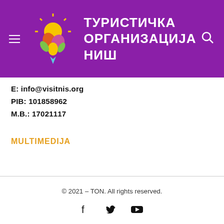[Figure (logo): Turistička organizacija Niš logo with colorful icon and Cyrillic text on purple background header]
E: info@visitnis.org
PIB: 101858962
M.B.: 17021117
MULTIMEDIJA
© 2021 – TON. All rights reserved.